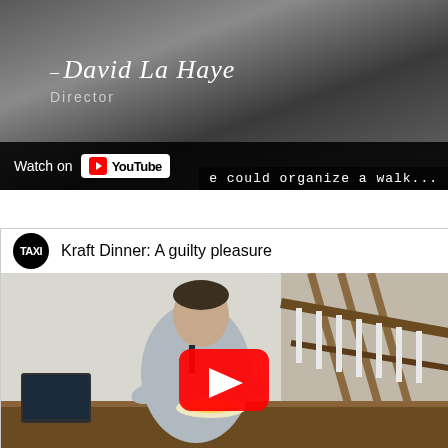[Figure (screenshot): YouTube video embed showing David La Haye Director interview, with 'Watch on YouTube' button overlay and subtitle text '...e could organize a walk...']
[Figure (screenshot): YouTube video embed with TAXI channel logo, title 'Kraft Dinner: A guilty pleasure', showing a man eating at a dining table with YouTube play button overlay]